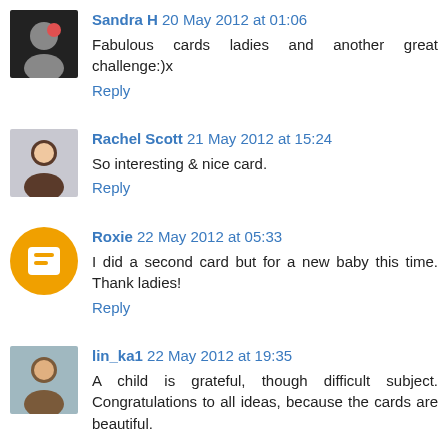Sandra H 20 May 2012 at 01:06
Fabulous cards ladies and another great challenge:)x
Reply
Rachel Scott 21 May 2012 at 15:24
So interesting & nice card.
Reply
Roxie 22 May 2012 at 05:33
I did a second card but for a new baby this time. Thank ladies!
Reply
lin_ka1 22 May 2012 at 19:35
A child is grateful, though difficult subject. Congratulations to all ideas, because the cards are beautiful.